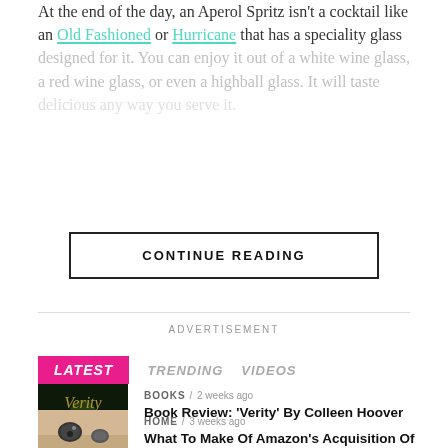At the end of the day, an Aperol Spritz isn't a cocktail like an Old Fashioned or Hurricane that has a speciality glass designed for it. You can enjoy it out of a white wine glass, a red wine glass, or even a highball glass. It will taste delicious any way you serve it.
CONTINUE READING
ADVERTISEMENT
LATEST   TRENDING   VIDEOS
BOOKS / 2 weeks ago
Book Review: ‘Verity’ By Colleen Hoover
[Figure (illustration): Dark book cover for 'Verity' by Colleen Hoover with gold/green smoky figure]
HOME / 3 weeks ago
What To Make Of Amazon’s Acquisition Of iRobot
[Figure (photo): Photo of a Roomba robot vacuum on a wooden floor]